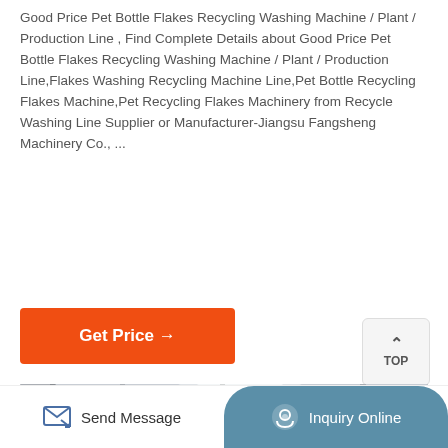Good Price Pet Bottle Flakes Recycling Washing Machine / Plant / Production Line , Find Complete Details about Good Price Pet Bottle Flakes Recycling Washing Machine / Plant / Production Line,Flakes Washing Recycling Machine Line,Pet Bottle Recycling Flakes Machine,Pet Recycling Flakes Machinery from Recycle Washing Line Supplier or Manufacturer-Jiangsu Fangsheng Machinery Co., ...
[Figure (other): TOP button with upward chevron arrow]
[Figure (other): Orange Get Price button with arrow]
[Figure (photo): Factory interior showing industrial machinery, ceiling structure with lights]
Send Message   Inquiry Online